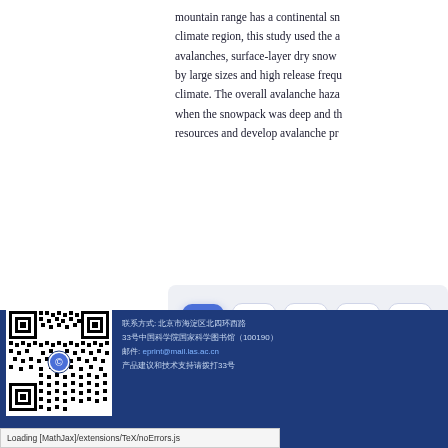mountain range has a continental snow climate region, this study used the a avalanches, surface-layer dry snow by large sizes and high release frequ climate. The overall avalanche haza when the snowpack was deep and th resources and develop avalanche pr
[Figure (other): Pagination widget showing page buttons 1 (active, blue), 2, 3, 4, 5]
[Figure (other): QR code with institution logo in the center, displayed in the blue footer area]
联系方式: 北京市海淀区北四环西路
33号中国科学院国家科学图书馆（100190）
邮件: eprint@mail.las.ac.cn
产品建议和技术支持请拨打33号
Loading [MathJax]/extensions/TeX/noErrors.js